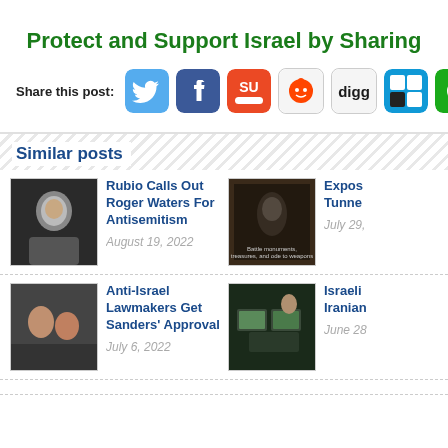Protect and Support Israel by Sharing
Share this post:
[Figure (infographic): Social media sharing icons: Twitter, Facebook, StumbleUpon, Reddit, Digg, Delicious, ShareThis, and one partially visible icon]
Similar posts
[Figure (photo): Photo of a man (Roger Waters)]
Rubio Calls Out Roger Waters For Antisemitism
August 19, 2022
[Figure (photo): Dark photo with text overlay related to tunnels]
Expos Tunne
July 29,
[Figure (photo): Photo of two people, Anti-Israel Lawmakers]
Anti-Israel Lawmakers Get Sanders' Approval
July 6, 2022
[Figure (photo): Photo of a person at computers, Israeli/Iranian topic]
Israeli Iranian
June 28